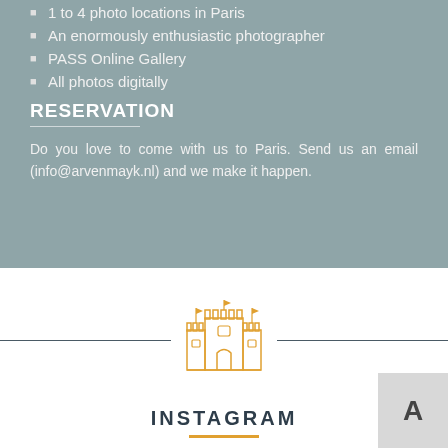1 to 4 photo locations in Paris
An enormously enthusiastic photographer
PASS Online Gallery
All photos digitally
RESERVATION
Do you love to come with us to Paris. Send us an email (info@arvenmayk.nl) and we make it happen.
[Figure (illustration): Orange outlined castle/fortress illustration centered between two horizontal lines]
INSTAGRAM